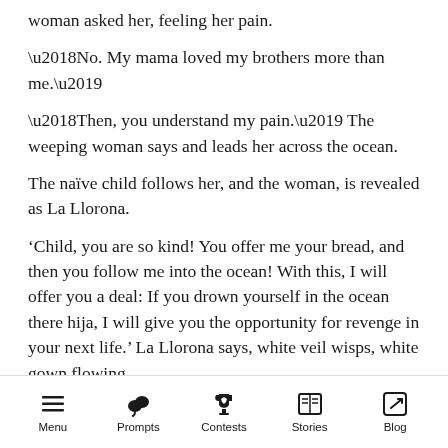woman asked her, feeling her pain.
‘No. My mama loved my brothers more than me.’
‘Then, you understand my pain.’ The weeping woman says and leads her across the ocean.
The naïve child follows her, and the woman, is revealed as La Llorona.
‘Child, you are so kind! You offer me your bread, and then you follow me into the ocean! With this, I will offer you a deal: If you drown yourself in the ocean there hija, I will give you the opportunity for revenge in your next life.’ La Llorona says, white veil wisps, white gown flowing.
Menu | Prompts | Contests | Stories | Blog